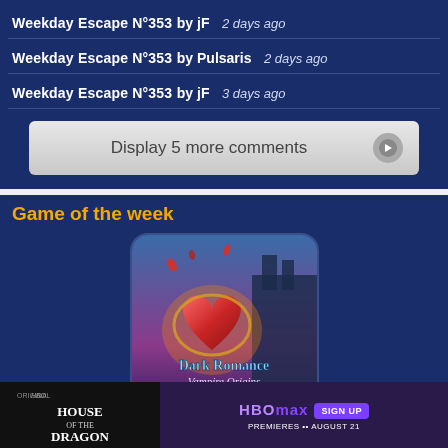Weekday Escape N°353 by jF 2 days ago
Weekday Escape N°353 by Pulsaris 2 days ago
Weekday Escape N°353 by jF 3 days ago
Display 5 more comments
Game of the week
[Figure (photo): Dark Romance: Vampire Origins Collector's Edition game cover art showing a glowing red heart with gold chains against a fantasy castle background]
[Figure (screenshot): HBO Max advertisement banner: House of the Dragon on HBO, premieres August 21, Sign Up button]